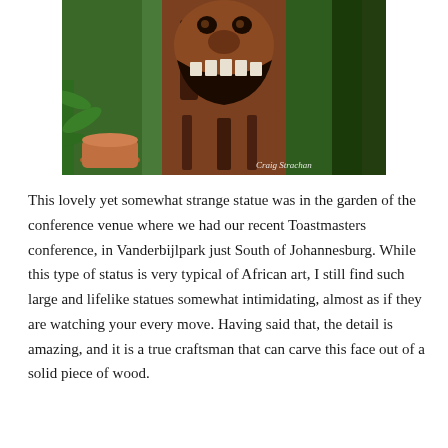[Figure (photo): A large wooden carved statue of a creature with a wide grinning mouth and dark textured grain, set in a lush garden with green plants and a terracotta pot. A watermark in the lower right reads 'Craig Strachan'.]
This lovely yet somewhat strange statue was in the garden of the conference venue where we had our recent Toastmasters conference, in Vanderbijlpark just South of Johannesburg. While this type of status is very typical of African art, I still find such large and lifelike statues somewhat intimidating, almost as if they are watching your every move. Having said that, the detail is amazing, and it is a true craftsman that can carve this face out of a solid piece of wood.